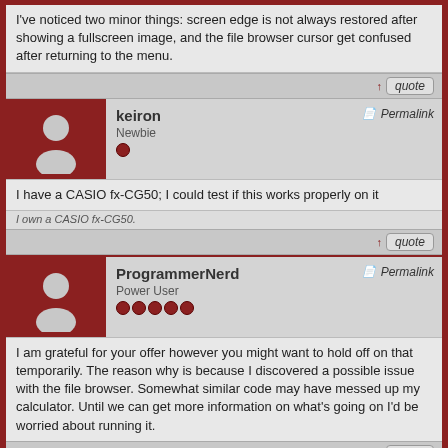I've noticed two minor things: screen edge is not always restored after showing a fullscreen image, and the file browser cursor get confused after returning to the menu.
keiron
Newbie
Permalink
I have a CASIO fx-CG50; I could test if this works properly on it
I own a CASIO fx-CG50.
ProgrammerNerd
Power User
Permalink
I am grateful for your offer however you might want to hold off on that temporarily. The reason why is because I discovered a possible issue with the file browser. Somewhat similar code may have messed up my calculator. Until we can get more information on what's going on I'd be worried about running it.
Display posts from previous: All Posts Oldest First Go